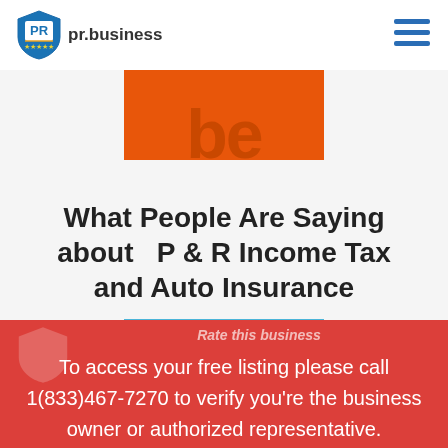pr.business
[Figure (logo): Orange rectangular partial image with letters 'be' visible, cropped at top]
What People Are Saying about   P & R Income Tax and Auto Insurance
Rate this business
To access your free listing please call 1(833)467-7270 to verify you're the business owner or authorized representative.